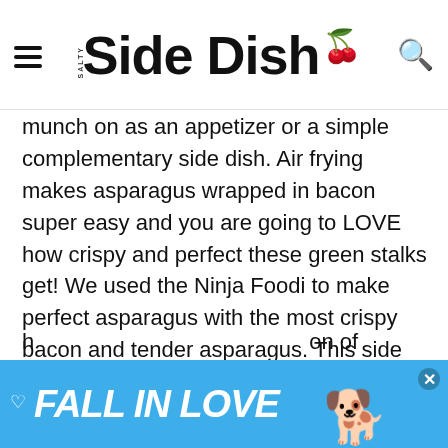SALTY Side Dish
munch on as an appetizer or a simple complementary side dish. Air frying makes asparagus wrapped in bacon super easy and you are going to LOVE how crispy and perfect these green stalks get! We used the Ninja Foodi to make perfect asparagus with the most crispy bacon and tender asparagus. This side dish goes great with steak or chicken and is one of the more classy and upscale side dish options. Another quick note is that bacon wrapped asparagus can double down as a finger food and appetizer for a party and is a breeze to
[Figure (other): Advertisement banner: blue background with heart icon, text 'FALL IN LOVE' in white italic bold font, dog image on right, close button (X) in upper right corner]